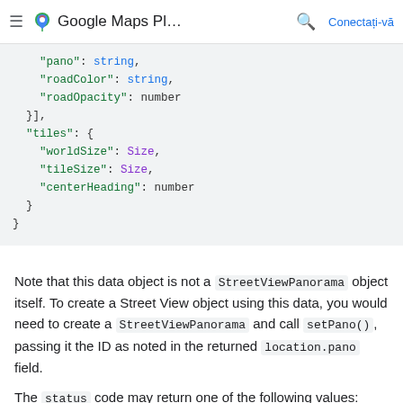Google Maps Pl... Conectați-vă
"pano": string,
    "roadColor": string,
    "roadOpacity": number
  }],
  "tiles": {
    "worldSize": Size,
    "tileSize": Size,
    "centerHeading": number
  }
}
Note that this data object is not a StreetViewPanorama object itself. To create a Street View object using this data, you would need to create a StreetViewPanorama and call setPano(), passing it the ID as noted in the returned location.pano field.
The status code may return one of the following values: